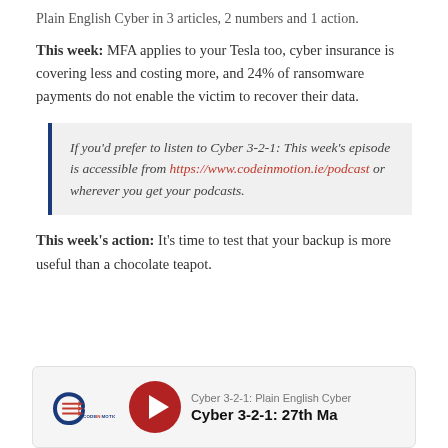Plain English Cyber in 3 articles, 2 numbers and 1 action.
This week: MFA applies to your Tesla too, cyber insurance is covering less and costing more, and 24% of ransomware payments do not enable the victim to recover their data.
If you'd prefer to listen to Cyber 3-2-1: This week's episode is accessible from https://www.codeinmotion.ie/podcast or wherever you get your podcasts.
This week's action: It's time to test that your backup is more useful than a chocolate teapot.
[Figure (other): Podcast card with Code in Motion logo, red play button, and text 'Cyber 3-2-1: Plain English Cyber / Cyber 3-2-1: 27th Ma']